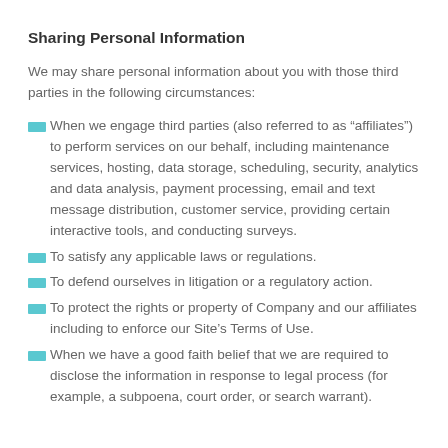Sharing Personal Information
We may share personal information about you with those third parties in the following circumstances:
When we engage third parties (also referred to as “affiliates”) to perform services on our behalf, including maintenance services, hosting, data storage, scheduling, security, analytics and data analysis, payment processing, email and text message distribution, customer service, providing certain interactive tools, and conducting surveys.
To satisfy any applicable laws or regulations.
To defend ourselves in litigation or a regulatory action.
To protect the rights or property of Company and our affiliates including to enforce our Site’s Terms of Use.
When we have a good faith belief that we are required to disclose the information in response to legal process (for example, a subpoena, court order, or search warrant).